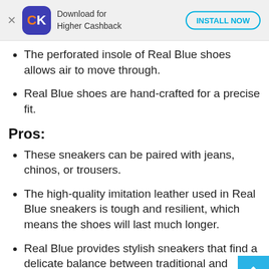[Figure (screenshot): App download banner with CK logo, 'Download for Higher Cashback' text, and 'INSTALL NOW' button]
The perforated insole of Real Blue shoes allows air to move through.
Real Blue shoes are hand-crafted for a precise fit.
Pros:
These sneakers can be paired with jeans, chinos, or trousers.
The high-quality imitation leather used in Real Blue sneakers is tough and resilient, which means the shoes will last much longer.
Real Blue provides stylish sneakers that find a delicate balance between traditional and modern attire.